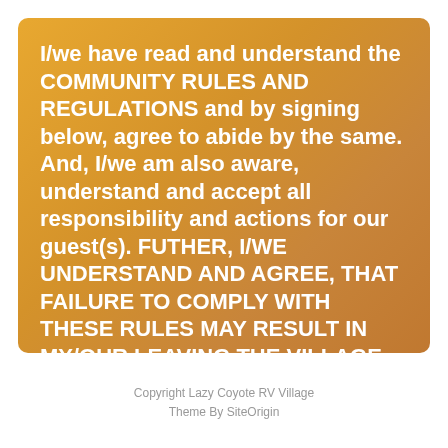I/we have read and understand the COMMUNITY RULES AND REGULATIONS and by signing below, agree to abide by the same. And, I/we am also aware, understand and accept all responsibility and actions for our guest(s). FUTHER, I/WE UNDERSTAND AND AGREE, THAT FAILURE TO COMPLY WITH THESE RULES MAY RESULT IN MY/OUR LEAVING THE VILLAGE WITHOUT REFUND AND FUTURE RESERVATIONS CANCELLED.
Copyright Lazy Coyote RV Village
Theme By SiteOrigin